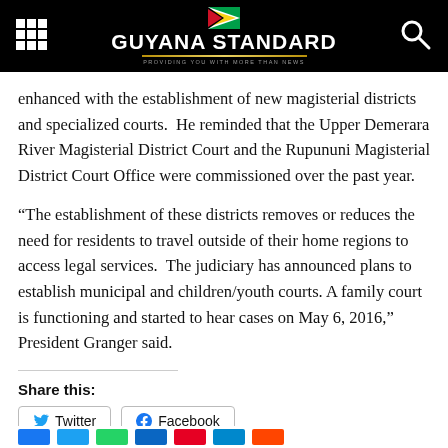GUYANA STANDARD
enhanced with the establishment of new magisterial districts and specialized courts.  He reminded that the Upper Demerara River Magisterial District Court and the Rupununi Magisterial District Court Office were commissioned over the past year.
“The establishment of these districts removes or reduces the need for residents to travel outside of their home regions to access legal services.  The judiciary has announced plans to establish municipal and children/youth courts. A family court is functioning and started to hear cases on May 6, 2016,” President Granger said.
Share this:
Twitter   Facebook